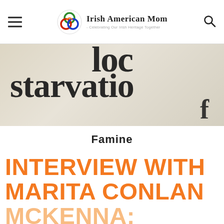Irish American Mom - Celebrating Our Irish Heritage Together
[Figure (photo): Close-up photograph of printed text on a page showing the words 'starvatio' (starvation) in large serif font, partially cropped]
Famine
INTERVIEW WITH MARITA CONLAN MCKENNA: